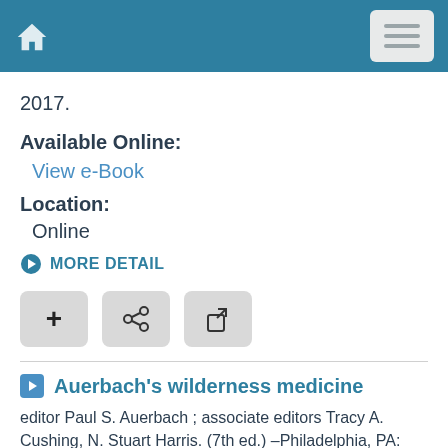2017.
Available Online:
View e-Book
Location:
Online
MORE DETAIL
[Figure (other): Three action buttons: plus, share, and external link]
Auerbach's wilderness medicine
editor Paul S. Auerbach ; associate editors Tracy A. Cushing, N. Stuart Harris. (7th ed.) –Philadelphia, PA: